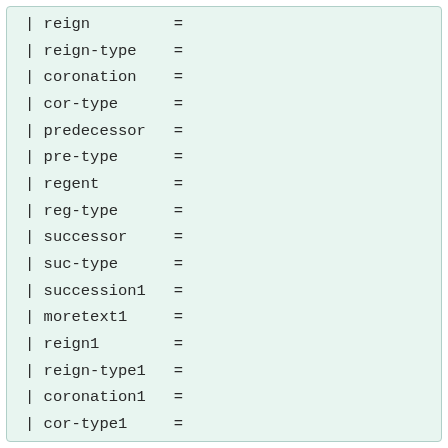| reign         =
| reign-type    =
| coronation    =
| cor-type      =
| predecessor   =
| pre-type      =
| regent        =
| reg-type      =
| successor     =
| suc-type      =
| succession1   =
| moretext1     =
| reign1        =
| reign-type1   =
| coronation1   =
| cor-type1     =
| predecessor1  =
| pre-type1